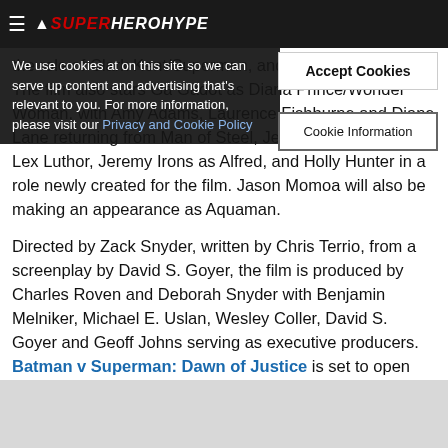SuperHeroHype
We use cookies at on this site so we can serve up content and advertising that's relevant to you. For more information, please visit our Privacy and Cookie Policy
Accept Cookies
Cookie Information
the role of Clark Kent/Superman, and B Wayne/Batman. The film also stars Gal Gadot as Diana Prince/Wonder Woman, with Amy Adams, Laurence Fishburne and Diane Lane returning from Man of Steel, Jesse Eisenberg as Lex Luthor, Jeremy Irons as Alfred, and Holly Hunter in a role newly created for the film. Jason Momoa will also be making an appearance as Aquaman.
Directed by Zack Snyder, written by Chris Terrio, from a screenplay by David S. Goyer, the film is produced by Charles Roven and Deborah Snyder with Benjamin Melniker, Michael E. Uslan, Wesley Coller, David S. Goyer and Geoff Johns serving as executive producers. Batman v Superman: Dawn of Justice is set to open worldwide on March 25, 2016.